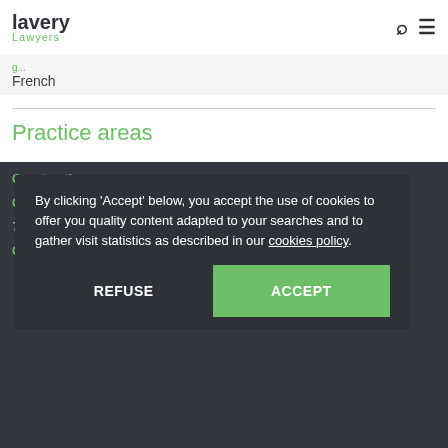lavery Lawyers
French
Practice areas
Construction
C...
Transportation and Transportation Infrastructure
Corporate and Business Integrity
By clicking 'Accept' below, you accept the use of cookies to offer you quality content adapted to your searches and to gather visit statistics as described in our cookies policy.
REFUSE
ACCEPT